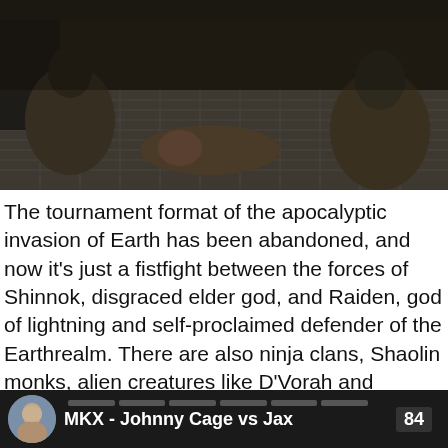[Figure (screenshot): Screenshot from Mortal Kombat X game showing characters fighting on a dark metallic grid floor, with figures in armored outfits visible from a low angle perspective.]
The tournament format of the apocalyptic invasion of Earth has been abandoned, and now it's just a fistfight between the forces of Shinnok, disgraced elder god, and Raiden, god of lightning and self-proclaimed defender of the Earthrealm. There are also ninja clans, Shaolin monks, alien creatures like D'Vorah and Reptile, and lots of other strange things. The storyline mostly makes sense in a disjointed, time-travelling way, but is just a preamble for the main event, the fighting. The dialogue in particular leaves a lot to be desired, except as camp entertainment, in which case it's great.
[Figure (screenshot): Video player footer bar showing a user avatar (man's face), the title 'MKX - Johnny Cage vs Jax', and the number 84 displayed.]